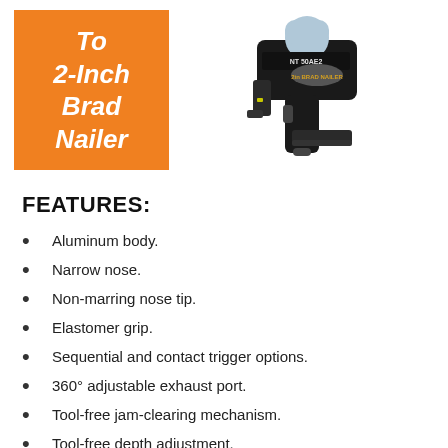To 2-Inch Brad Nailer
[Figure (photo): Photo of a black and silver pneumatic brad nailer (NT 50AE2 2in Brad Nailer) on a white background]
FEATURES:
Aluminum body.
Narrow nose.
Non-marring nose tip.
Elastomer grip.
Sequential and contact trigger options.
360° adjustable exhaust port.
Tool-free jam-clearing mechanism.
Tool-free depth adjustment.
Reload indicator.